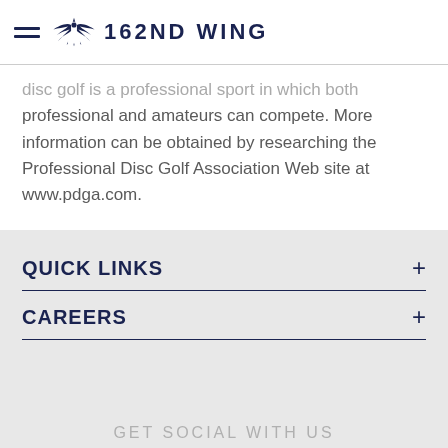162ND WING
disc golf is a professional sport in which both professional and amateurs can compete. More information can be obtained by researching the Professional Disc Golf Association Web site at www.pdga.com.
QUICK LINKS
CAREERS
GET SOCIAL WITH US